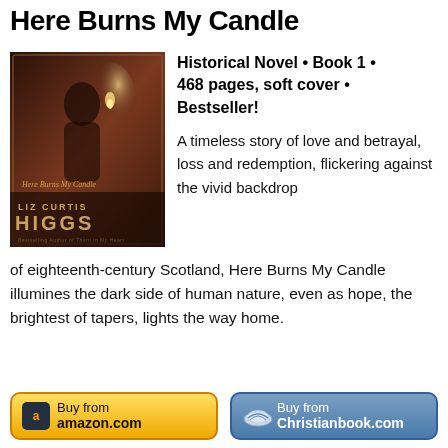Here Burns My Candle
[Figure (photo): Book cover of 'Here Burns My Candle' by Liz Curtis Higgs, showing a woman in period dress holding a candle against a dark warm-toned background]
Historical Novel • Book 1 • 468 pages, soft cover • Bestseller!
A timeless story of love and betrayal, loss and redemption, flickering against the vivid backdrop of eighteenth-century Scotland, Here Burns My Candle illumines the dark side of human nature, even as hope, the brightest of tapers, lights the way home.
[Figure (other): Buy from amazon.com button (yellow/gold rounded rectangle with Amazon logo)]
[Figure (other): Buy from Christianbook.com button (blue rounded rectangle with Christianbook logo)]